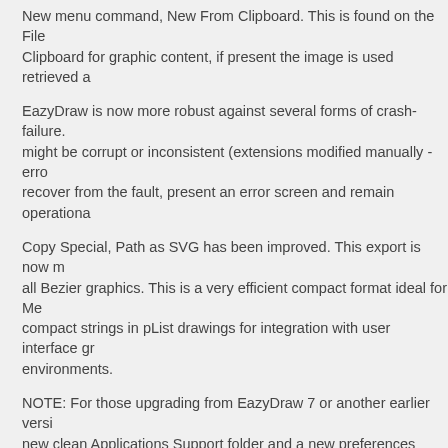New menu command, New From Clipboard. This is found on the File… Clipboard for graphic content, if present the image is used retrieved a…
EazyDraw is now more robust against several forms of crash-failure. … might be corrupt or inconsistent (extensions modified manually - erro… recover from the fault, present an error screen and remain operationa…
Copy Special, Path as SVG has been improved. This export is now m… all Bezier graphics. This is a very efficient compact format ideal for M… compact strings in pList drawings for integration with user interface gr… environments.
NOTE: For those upgrading from EazyDraw 7 or another earlier versi… new clean Applications Support folder and a new preferences identity… palettes, dashed lines, arrows, … are not automatically brought into the… user defined backup files (this is of course recommended in any case… move corresponding files from the EazyDraw 7 Applications Support f… Folder. All content formats are compatible, but we have decided that t… each major version release of EazyDraw.
7.5.1 July 30, 2015
July 28, 2015
El Capitan, OS X 10.11